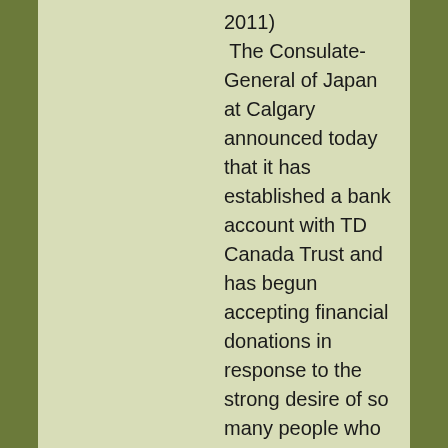2011) The Consulate-General of Japan at Calgary announced today that it has established a bank account with TD Canada Trust and has begun accepting financial donations in response to the strong desire of so many people who want to contribute to the earthquake and tsunami relief. Please see below for details. Donations are to be